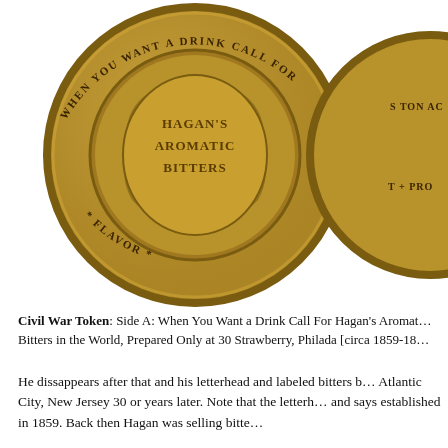[Figure (photo): Two Civil War tokens photographed side by side. The left coin (mostly visible) is a bronze/brass token showing a wreath in the center with text 'HAGAN'S AROMATIC BITTERS' and around the rim 'WHEN YOU WANT A DRINK CALL FOR' and 'FLAVOR'. The right coin is partially cropped showing text fragments.]
Civil War Token: Side A: When You Want a Drink Call For Hagan's Aromat... Bitters in the World, Prepared Only at 30 Strawberry, Philada [circa 1859-18...
He dissappears after that and his letterhead and labeled bitters b... Atlantic City, New Jersey 30 or years later. Note that the letterh... and says established in 1859. Back then Hagan was selling bitte...